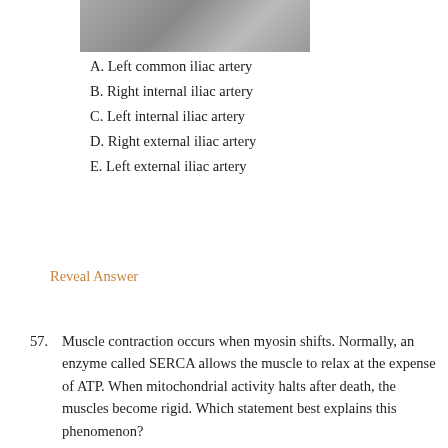[Figure (photo): Grayscale medical imaging photograph (angiogram) showing vascular structures]
A. Left common iliac artery
B. Right internal iliac artery
C. Left internal iliac artery
D. Right external iliac artery
E. Left external iliac artery
Reveal Answer
57. Muscle contraction occurs when myosin shifts. Normally, an enzyme called SERCA allows the muscle to relax at the expense of ATP. When mitochondrial activity halts after death, the muscles become rigid. Which statement best explains this phenomenon?
A. In the absence of ATP, actin-myosin cross-bridges become stable and are unable to detach.
B. In the absence of ATP, neural impulses decrease in frequency and thin filaments condense.
C. In the absence of ATP, troponin fails to cover the myosin-binding sites on actin.